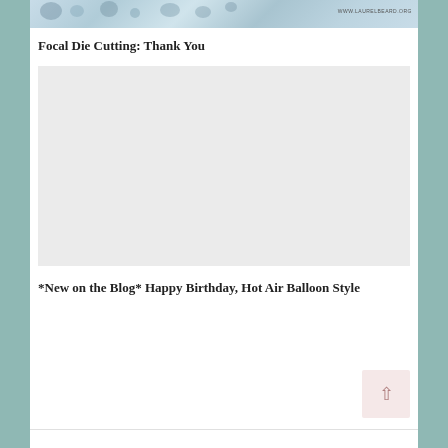[Figure (photo): Partial top image strip with floral/texture pattern and WWW.LAURELBEARD.ORG watermark]
Focal Die Cutting: Thank You
[Figure (photo): Large light grey placeholder image block]
*New on the Blog* Happy Birthday, Hot Air Balloon Style